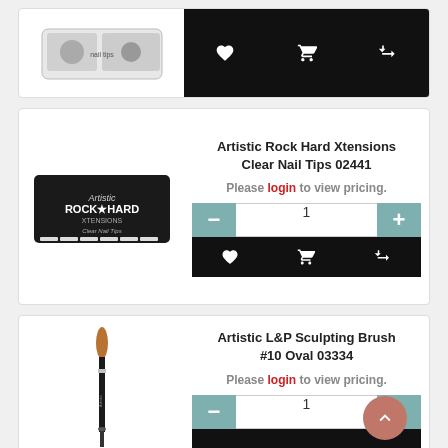[Figure (photo): Partial product card at top showing product image (nail product box) and action buttons on black background]
Artistic Rock Hard Xtensions Clear Nail Tips 02441
Please login to view pricing.
[Figure (photo): Artistic Rock Hard Xtensions Clear Nail Tips product box on black background]
Artistic L&P Sculpting Brush #10 Oval 03334
Please login to view pricing.
[Figure (photo): Artistic L&P Sculpting Brush #10 Oval product image]